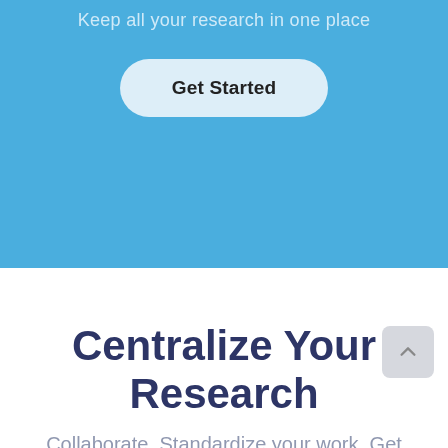Keep all your research in one place
Get Started
Centralize Your Research
Collaborate. Standardize your work. Get